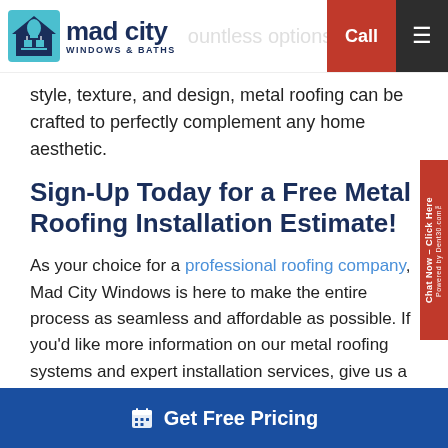Mad City Windows & Baths — Call
style, texture, and design, metal roofing can be crafted to perfectly complement any home aesthetic.
Sign-Up Today for a Free Metal Roofing Installation Estimate!
As your choice for a professional roofing company, Mad City Windows is here to make the entire process as seamless and affordable as possible. If you'd like more information on our metal roofing systems and expert installation services, give us a call today! You can also request your free quote and in-home consultation now by filling out our brief online form.
Explore Options
Get Free Pricing